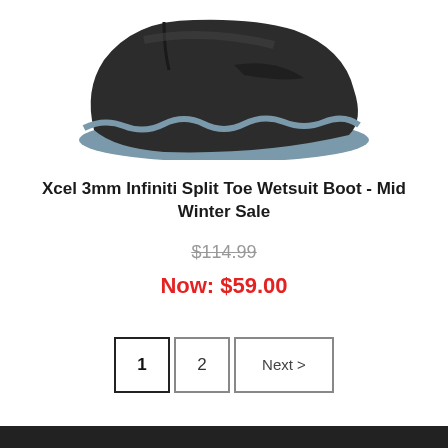[Figure (photo): Product photo of Xcel 3mm Infiniti Split Toe Wetsuit Boot — dark grey/black boot with blue-grey sole, shown from above cropped at top of page.]
Xcel 3mm Infiniti Split Toe Wetsuit Boot - Mid Winter Sale
$114.99
Now: $59.00
1  2  Next >